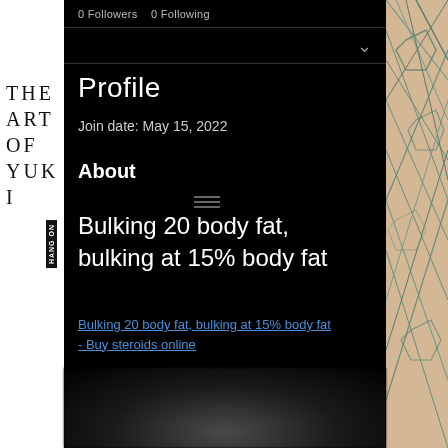[Figure (screenshot): Website profile page screenshot with dark background showing a user profile on 'The Art of Yuki' website]
0 Followers · 0 Following
Profile
Join date: May 15, 2022
About
Bulking 20 body fat, bulking at 15% body fat
Bulking 20 body fat, bulking at 15% body fat - Buy steroids online